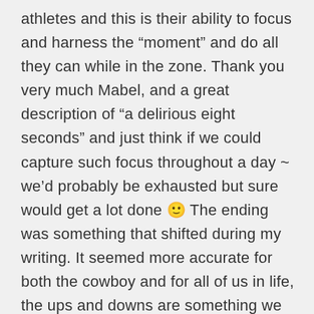athletes and this is their ability to focus and harness the “moment” and do all they can while in the zone. Thank you very much Mabel, and a great description of “a delirious eight seconds” and just think if we could capture such focus throughout a day ~ we’d probably be exhausted but sure would get a lot done 🙂 The ending was something that shifted during my writing. It seemed more accurate for both the cowboy and for all of us in life, the ups and downs are something we all must deal with and knowing this makes even the down periods something we can view as positive (I am an eternal optimist in this way!).